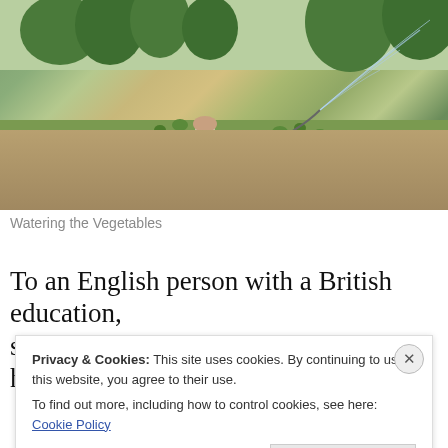[Figure (photo): A person in a white dress and head covering watering a garden/vegetable plot with a hose, creating a spray arc. Trees and vegetation in background, sandy/earthy ground.]
Watering the Vegetables
To an English person with a British education, schooling here can at first seem haphazard and
Privacy & Cookies: This site uses cookies. By continuing to use this website, you agree to their use.
To find out more, including how to control cookies, see here: Cookie Policy